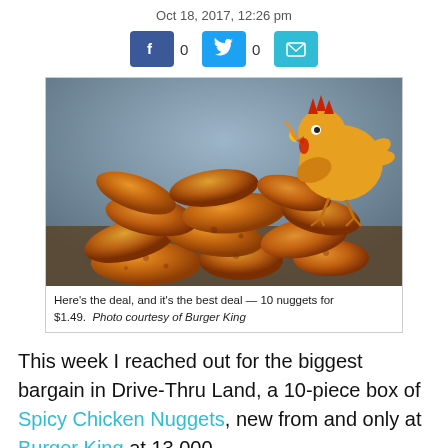Oct 18, 2017, 12:26 pm
[Figure (infographic): Social share buttons: Facebook (0 shares), Twitter (0 shares), and email icon]
[Figure (photo): Photo of a pile of Burger King Spicy Chicken Nuggets with a cartoon chicken mascot in the upper right corner]
Here's the deal, and it's the best deal — 10 nuggets for $1.49.  Photo courtesy of Burger King
This week I reached out for the biggest bargain in Drive-Thru Land, a 10-piece box of Spicy Chicken Nuggets, new from and only at Burger King at 13,000